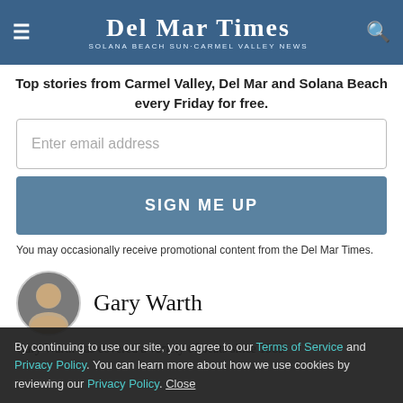Del Mar Times — Solana Beach Sun·Carmel Valley News
Top stories from Carmel Valley, Del Mar and Solana Beach every Friday for free.
Enter email address
SIGN ME UP
You may occasionally receive promotional content from the Del Mar Times.
Gary Warth
Gary Warth has covered a variety of beats since 1989
By continuing to use our site, you agree to our Terms of Service and Privacy Policy. You can learn more about how we use cookies by reviewing our Privacy Policy. Close